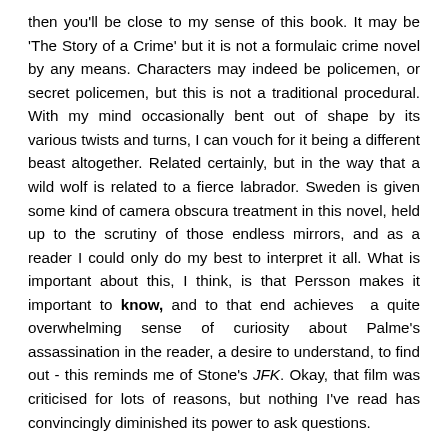then you'll be close to my sense of this book. It may be 'The Story of a Crime' but it is not a formulaic crime novel by any means. Characters may indeed be policemen, or secret policemen, but this is not a traditional procedural. With my mind occasionally bent out of shape by its various twists and turns, I can vouch for it being a different beast altogether. Related certainly, but in the way that a wild wolf is related to a fierce labrador. Sweden is given some kind of camera obscura treatment in this novel, held up to the scrutiny of those endless mirrors, and as a reader I could only do my best to interpret it all. What is important about this, I think, is that Persson makes it important to know, and to that end achieves a quite overwhelming sense of curiosity about Palme's assassination in the reader, a desire to understand, to find out - this reminds me of Stone's JFK. Okay, that film was criticised for lots of reasons, but nothing I've read has convincingly diminished its power to ask questions.
Much has already been said by many about Scandinavian Crime Fiction and the reproductive prowess this literary movement seems to have - from Mankell to Larsson (who I think is just a bit overrated) to Fossum, Jungstedt, Theorin,